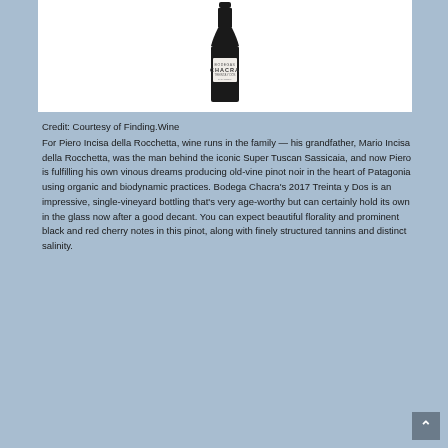[Figure (photo): A wine bottle with a white label reading 'CHACRA' against a white background]
Credit: Courtesy of Finding.Wine
For Piero Incisa della Rocchetta, wine runs in the family — his grandfather, Mario Incisa della Rocchetta, was the man behind the iconic Super Tuscan Sassicaia, and now Piero is fulfilling his own vinous dreams producing old-vine pinot noir in the heart of Patagonia using organic and biodynamic practices. Bodega Chacra's 2017 Treinta y Dos is an impressive, single-vineyard bottling that's very age-worthy but can certainly hold its own in the glass now after a good decant. You can expect beautiful florality and prominent black and red cherry notes in this pinot, along with finely structured tannins and distinct salinity.